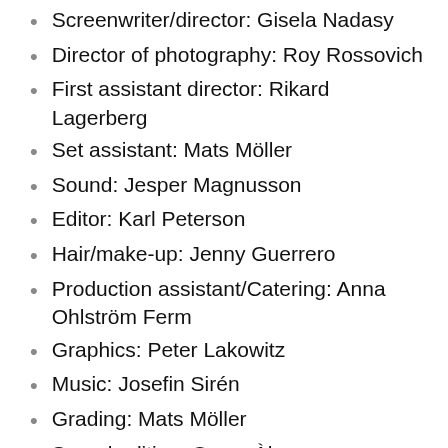Screenwriter/director: Gisela Nadasy
Director of photography: Roy Rossovich
First assistant director: Rikard Lagerberg
Set assistant: Mats Möller
Sound: Jesper Magnusson
Editor: Karl Peterson
Hair/make-up: Jenny Guerrero
Production assistant/Catering: Anna Ohlström Ferm
Graphics: Peter Lakowitz
Music: Josefin Sirén
Grading: Mats Möller
Sound editing: Oscar Àlvarez